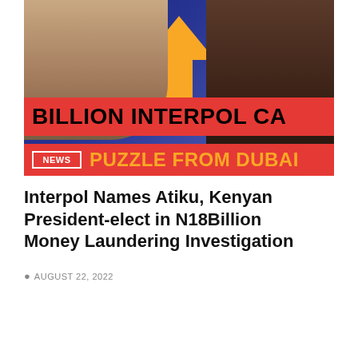[Figure (photo): News article header image showing two political figures against a blue background with a large gold arrow, overlaid with red banner text reading 'BILLION INTERPOL CA...' and yellow text 'PUZZLE FROM DUBAI', with a red NEWS tag]
Interpol Names Atiku, Kenyan President-elect in N18Billion Money Laundering Investigation
AUGUST 22, 2022